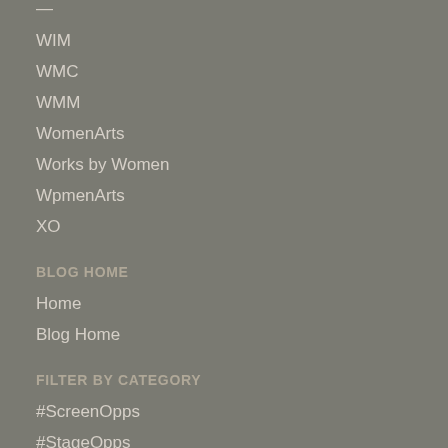WIM
WMC
WMM
WomenArts
Works by Women
WpmenArts
XO
BLOG HOME
Home
Blog Home
FILTER BY CATEGORY
#ScreenOpps
#StageOpps
Blog
Collaboration Award
Discounts